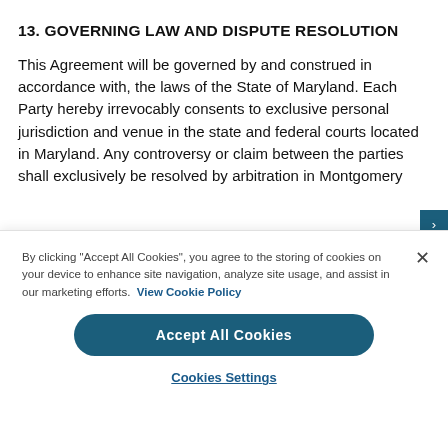13. GOVERNING LAW AND DISPUTE RESOLUTION
This Agreement will be governed by and construed in accordance with, the laws of the State of Maryland. Each Party hereby irrevocably consents to exclusive personal jurisdiction and venue in the state and federal courts located in Maryland. Any controversy or claim between the parties shall exclusively be resolved by arbitration in Montgomery
By clicking "Accept All Cookies", you agree to the storing of cookies on your device to enhance site navigation, analyze site usage, and assist in our marketing efforts. View Cookie Policy
Accept All Cookies
Cookies Settings